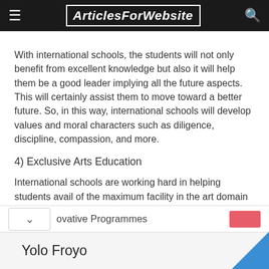ArticlesForWebsite
With international schools, the students will not only benefit from excellent knowledge but also it will help them be a good leader implying all the future aspects. This will certainly assist them to move toward a better future. So, in this way, international schools will develop values and moral characters such as diligence, discipline, compassion, and more.
4) Exclusive Arts Education
International schools are working hard in helping students avail of the maximum facility in the art domain as well. Yes, they are always supporting someone with excellent artistry skills and give them all the backing they need to express their talent in the most promising way.
Yolo Froyo